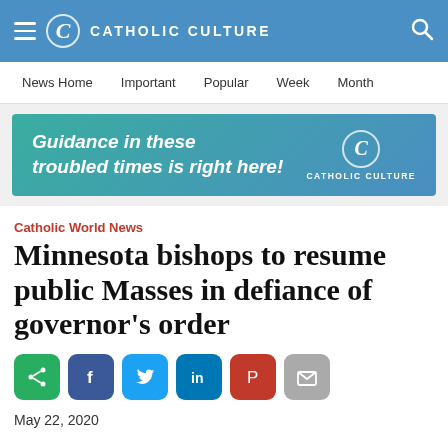CATHOLIC CULTURE
News Home  Important  Popular  Week  Month
[Figure (infographic): Advertisement banner: 'Guidance in these troubled times is right here!' with Catholic Culture logo]
Catholic World News
Minnesota bishops to resume public Masses in defiance of governor's order
[Figure (infographic): Social sharing buttons: share (green), Facebook (blue), Twitter (light blue), LinkedIn (dark blue), Pinterest (red), email (grey)]
May 22, 2020